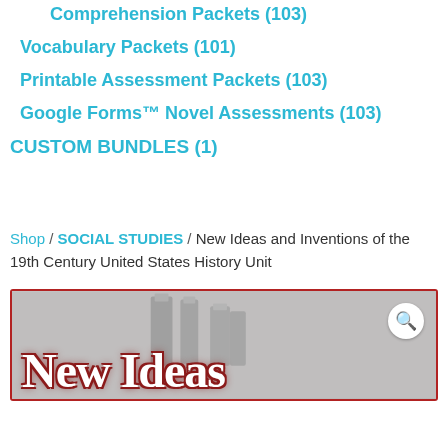Comprehension Packets (103)
Vocabulary Packets (101)
Printable Assessment Packets (103)
Google Forms™ Novel Assessments (103)
CUSTOM BUNDLES (1)
Shop / SOCIAL STUDIES / New Ideas and Inventions of the 19th Century United States History Unit
[Figure (photo): Product thumbnail image showing 'New Ideas' text in decorative font with industrial chimneys in the background, framed in red border. A search/zoom icon is visible in the top right corner.]